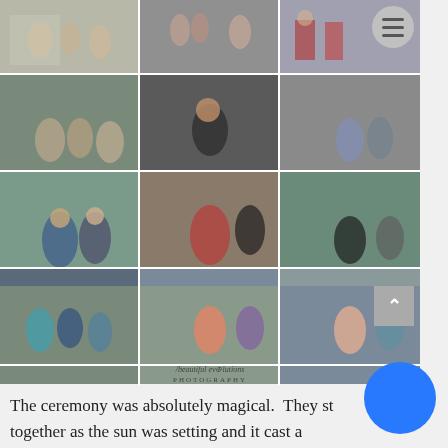[Figure (photo): A grid of 15 event/wedding reception photos arranged in 5 rows of 3 columns, showing guests socializing, dining, and posing at what appears to be an indoor event venue with large windows. Includes a 'beautiful evolutions PHOTOGRAPHY' watermark at the bottom of the grid.]
The ceremony was absolutely magical.  They st together as the sun was setting and it cast a